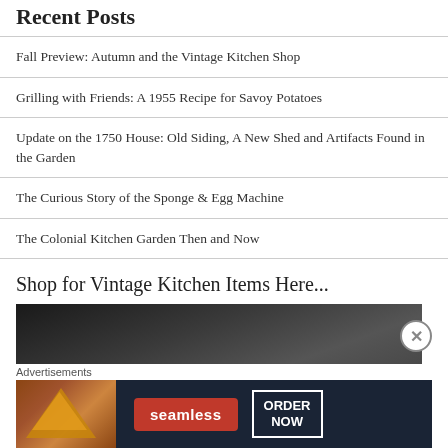Recent Posts
Fall Preview: Autumn and the Vintage Kitchen Shop
Grilling with Friends: A 1955 Recipe for Savoy Potatoes
Update on the 1750 House: Old Siding, A New Shed and Artifacts Found in the Garden
The Curious Story of the Sponge & Egg Machine
The Colonial Kitchen Garden Then and Now
Shop for Vintage Kitchen Items Here...
[Figure (photo): Dark background kitchen/shop image]
Advertisements
[Figure (screenshot): Seamless food delivery advertisement banner with pizza image, seamless logo, and ORDER NOW button]